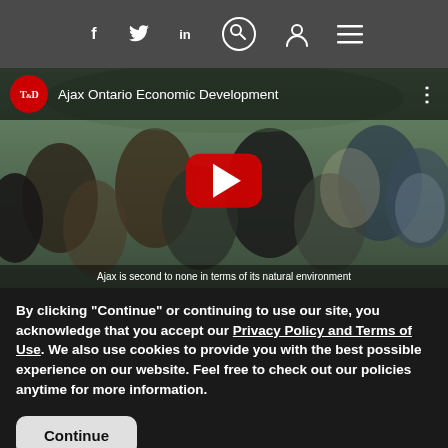Navigation bar with social icons: f (Facebook), Twitter, in (LinkedIn), search, user, menu
[Figure (screenshot): YouTube video thumbnail for 'Ajax Ontario Economic Development' showing a diverse crowd of people outdoors with a YouTube play button overlay. Caption reads: Ajax is second to none in terms of its natural environment. T&D logo shown in top left of video.]
By clicking "Continue" or continuing to use our site, you acknowledge that you accept our Privacy Policy and Terms of Use. We also use cookies to provide you with the best possible experience on our website. Feel free to check out our policies anytime for more information.
Continue